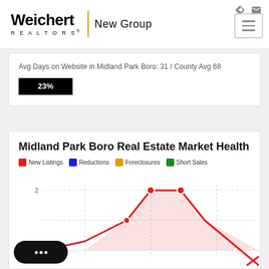Weichert REALTORS New Group
Avg Days on Website in Midland Park Boro: 31 / County Avg 68
[Figure (infographic): Black progress bar showing 23% label]
Midland Park Boro Real Estate Market Health
New Listings  Reductions  Foreclosures  Short Sales
[Figure (area-chart): Area/line chart showing New Listings (red), Reductions (blue), Foreclosures (orange), Short Sales (green) over time. Y-axis shows value 2 visible. Red line peaks at 2 across two data points. Partial chart visible.]